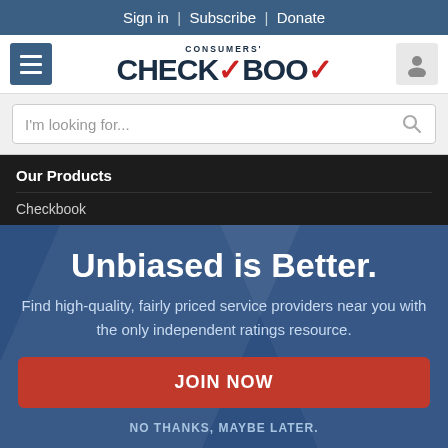Sign in | Subscribe | Donate
[Figure (logo): Consumers' Checkbook logo with red checkmark]
I'm looking for...
Our Products
Checkbook
Unbiased is Better.
Find high-quality, fairly priced service providers near you with the only independent ratings resource.
JOIN NOW
NO THANKS, MAYBE LATER.